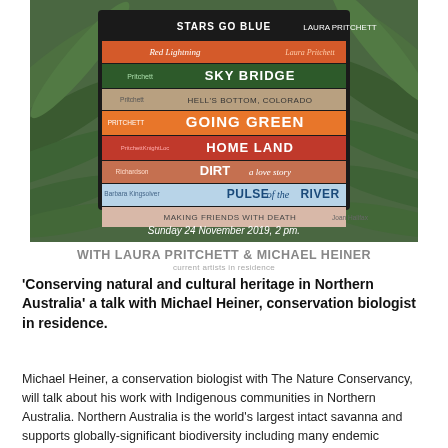[Figure (photo): A stack of books photographed against a tropical palm leaf background. Book spines visible include: 'Stars Go Blue - Laura Pritchett', 'Red Lightning - Laura Pritchett', 'Pritchett Sky Bridge', 'Pritchett Hell's Bottom, Colorado', 'Pritchett Going Green', 'Pritchett Knight Loc Home Land', 'Richardson Dirt - a love story', 'Pulse of the River', 'Making Friends With Death'. Text overlay: 'Sunday 24 November 2019, 2 pm.']
WITH LAURA PRITCHETT & MICHAEL HEINER
current artists in residence
'Conserving natural and cultural heritage in Northern Australia' a talk with Michael Heiner, conservation biologist in residence.
Michael Heiner, a conservation biologist with The Nature Conservancy, will talk about his work with Indigenous communities in Northern Australia. Northern Australia is the world's largest intact savanna and supports globally-significant biodiversity including many endemic species. It